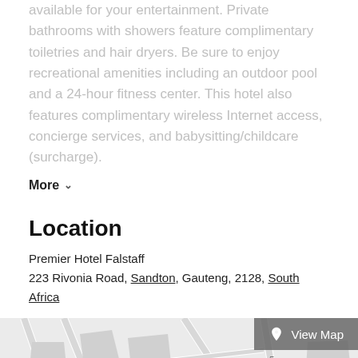available for your entertainment. Private bathrooms with showers feature complimentary toiletries and hair dryers. Be sure to enjoy recreational amenities including an outdoor pool and a 24-hour fitness center. This hotel also features complimentary wireless Internet access, concierge services, and babysitting/childcare (surcharge).
More
Location
Premier Hotel Falstaff
223 Rivonia Road, Sandton, Gauteng, 2128, South Africa
[Figure (map): Street map showing the area around Premier Hotel Falstaff, Sandton, South Africa. Shows streets including Flamboyant Avenue, allClare Drive, Nkana Crescent, School Road, Outspan Road, and the MORNING SIDE neighbourhood. A green rectangle park and a route 9 marker are visible.]